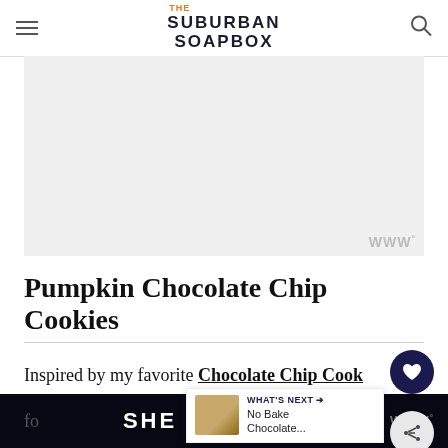THE SUBURBAN SOAPBOX
[Figure (photo): Advertisement placeholder area with light gray background and watermark logo in bottom right]
Pumpkin Chocolate Chip Cookies
Inspired by my favorite Chocolate Chip Cookie recipe....this easy Pumpkin Chocolate Chip Cookie recipe is as simple as it gets. Made with pumpkin puree, these pumpkin cookies are moist, tender and soft. The ultimate sweet treat fo
[Figure (infographic): What's Next widget showing a thumbnail image and text 'No Bake Chocolate...']
SHE CAN STEM